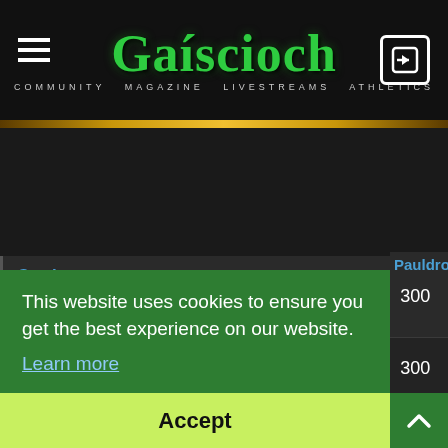[Figure (logo): Gaiscioch community website logo with green Celtic-style text and navigation bar showing hamburger menu and login icon]
| Item | Slot |  |  |
| --- | --- | --- | --- |
| Carrion Barbaric Pauldrons | Shoulders | 70 | 300 |
| Knight's Barbaric Boots | Feet | 70 | 300 |
| Valkyrie Barbaric Boots | Feet | 70 | 300 |
|  |  |  | 300 |
|  |  |  | 300 |
This website uses cookies to ensure you get the best experience on our website. Learn more
Accept